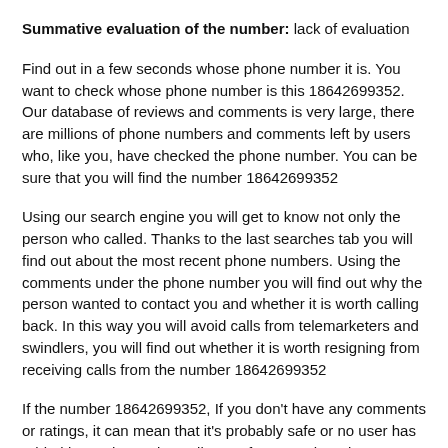Summative evaluation of the number: lack of evaluation
Find out in a few seconds whose phone number it is. You want to check whose phone number is this 18642699352. Our database of reviews and comments is very large, there are millions of phone numbers and comments left by users who, like you, have checked the phone number. You can be sure that you will find the number 18642699352
Using our search engine you will get to know not only the person who called. Thanks to the last searches tab you will find out about the most recent phone numbers. Using the comments under the phone number you will find out why the person wanted to contact you and whether it is worth calling back. In this way you will avoid calls from telemarketers and swindlers, you will find out whether it is worth resigning from receiving calls from the number 18642699352
If the number 18642699352, If you don't have any comments or ratings, it can mean that it's probably safe or no user has added it as a harassing call yet. Of course, there is no 100% certainty that it is not a telemarker or a sales representative. If it turns out that